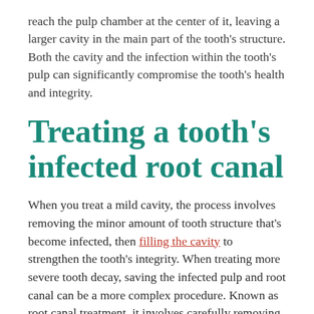reach the pulp chamber at the center of it, leaving a larger cavity in the main part of the tooth's structure. Both the cavity and the infection within the tooth's pulp can significantly compromise the tooth's health and integrity.
Treating a tooth's infected root canal
When you treat a mild cavity, the process involves removing the minor amount of tooth structure that's become infected, then filling the cavity to strengthen the tooth's integrity. When treating more severe tooth decay, saving the infected pulp and root canal can be a more complex procedure. Known as root canal treatment, it involves carefully removing the tooth structure and tooth tissues that have become infected. This requires cleaning the infection out of the tooth's pulp and